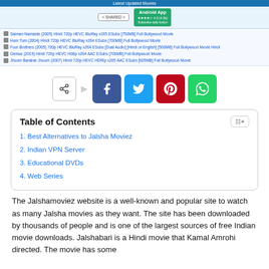Latest Updated Movies
[Figure (screenshot): Website header with SHARED button and Android app download button]
[Figure (screenshot): List of Bollywood movie download links: Salman Namaste (2005) Hindi 720p HEVC BluRay x265 ESubs [750MB] Full Bollywood Movie; Hum Tum (2004) Hindi 720p HEVC BluRay x264 ESubs [700MB] Full Bollywood Movie; Four Brothers (2005) 720p HEVC BluRay x264 ESubs [Dual Audio] [Hindi or English] [500MB] Full Bollywood Movie Hindi; Genius (2019) Hindi 720p HEVC H08p x264 AAC ESubs [700MB] Full Bollywood Movie; Jhoom Barabar Jhoom (2007) Hindi 720p HEVC HDRip x265 AAC ESubs [605MB] Full Bollywood Movie]
[Figure (infographic): Social share buttons: share icon, Facebook (blue), Twitter (light blue), Pinterest (red), WhatsApp (green)]
Table of Contents
1. Best Alternatives to Jalsha Moviez
2. Indian VPN Server
3. Educational DVDs
4. Web Series
The Jalshamoviez website is a well-known and popular site to watch as many Jalsha movies as they want. The site has been downloaded by thousands of people and is one of the largest sources of free Indian movie downloads. Jalshabari is a Hindi movie that Kamal Amrohi directed. The movie has some